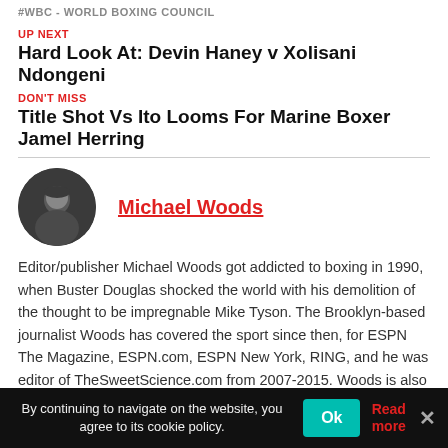#WBC - WORLD BOXING COUNCIL
UP NEXT
Hard Look At: Devin Haney v Xolisani Ndongeni
DON'T MISS
Title Shot Vs Ito Looms For Marine Boxer Jamel Herring
[Figure (photo): Circular avatar/portrait of Michael Woods, a bald man in dark clothing]
Michael Woods
Editor/publisher Michael Woods got addicted to boxing in 1990, when Buster Douglas shocked the world with his demolition of the thought to be impregnable Mike Tyson. The Brooklyn-based journalist Woods has covered the sport since then, for ESPN The Magazine, ESPN.com, ESPN New York, RING, and he was editor of TheSweetScience.com from 2007-2015. Woods is also an
By continuing to navigate on the website, you agree to its cookie policy.